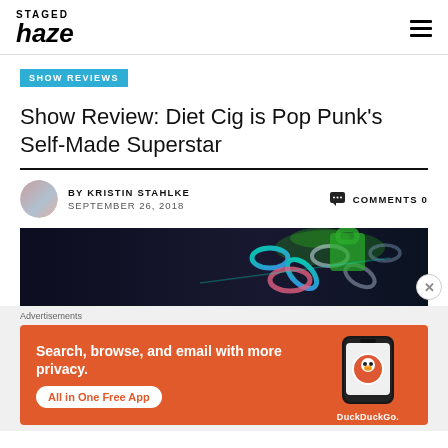STAGED haze
SHOW REVIEWS
Show Review: Diet Cig is Pop Punk's Self-Made Superstar
BY KRISTIN STAHLKE  SEPTEMBER 26, 2018  COMMENTS 0
[Figure (photo): Hero image with dark background showing chains and green lighting for Diet Cig show]
[Figure (other): DuckDuckGo advertisement banner: Search, browse, and email with more privacy. All in One Free App. Shows phone mockup with DuckDuckGo logo.]